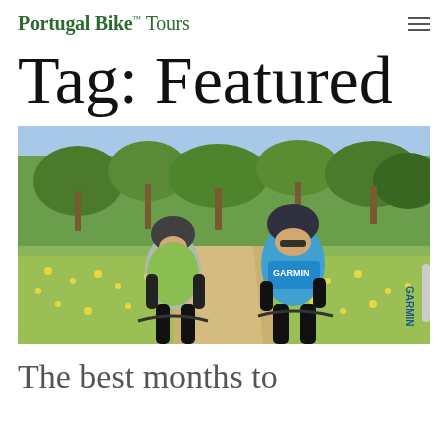Portugal Bike™ Tours
Tag: Featured
[Figure (photo): Two cyclists wearing helmets and sunglasses posing on a dirt path surrounded by green trees and yellow wildflowers in Portugal. The person on the left wears a green and grey jersey; the person on the right wears a blue Garmin cycling jersey.]
The best months to